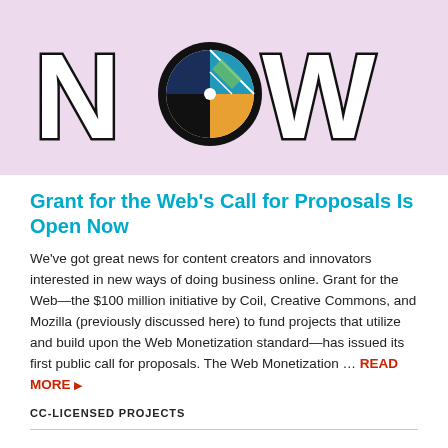[Figure (illustration): Pink/lavender banner with large bold 'NOW' text in white with black outline. The letter 'O' is replaced by a circular logo with a pie chart-style quadrant design in blue, green, orange, and black/dark colors. The word 'NOW' spans the banner.]
Grant for the Web's Call for Proposals Is Open Now
We've got great news for content creators and innovators interested in new ways of doing business online. Grant for the Web—the $100 million initiative by Coil, Creative Commons, and Mozilla (previously discussed here) to fund projects that utilize and build upon the Web Monetization standard—has issued its first public call for proposals. The Web Monetization … READ MORE ▶
CC-LICENSED PROJECTS